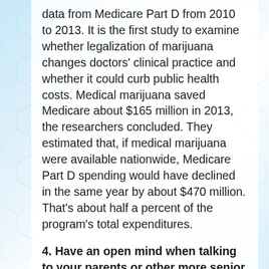data from Medicare Part D from 2010 to 2013. It is the first study to examine whether legalization of marijuana changes doctors' clinical practice and whether it could curb public health costs. Medical marijuana saved Medicare about $165 million in 2013, the researchers concluded. They estimated that, if medical marijuana were available nationwide, Medicare Part D spending would have declined in the same year by about $470 million. That's about half a percent of the program's total expenditures.
4. Have an open mind when talking to your parents or other more senior adults. They might surprise you. Since many of us have been taught to "Just Say No to Drugs," there may be a feeling of wrong-doing, just by bringing up the topic of medical cannabis to our parents. But, the truth is, people age